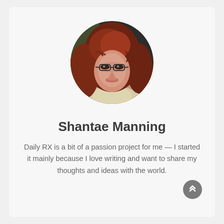[Figure (photo): Circular profile photo of a young woman with red wavy hair and glasses, wearing a light top, against a dark background]
Shantae Manning
Daily RX is a bit of a passion project for me — I started it mainly because I love writing and want to share my thoughts and ideas with the world.